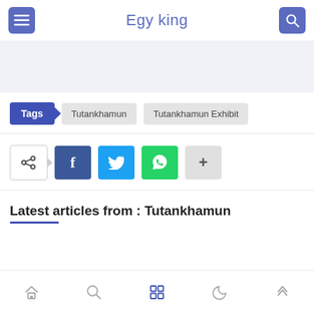Egy king
[Figure (screenshot): Ad banner area (gray placeholder)]
Tags  Tutankhamun  Tutankhamun Exhibit
[Figure (infographic): Social share buttons: share (native), Facebook, Twitter, WhatsApp, more (+)]
Latest articles from : Tutankhamun
Bottom navigation bar with home, search, grid, dark mode, and scroll-up icons